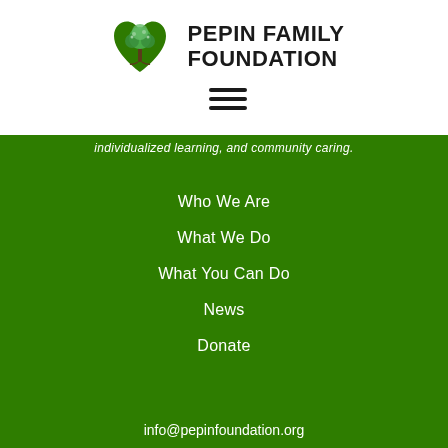[Figure (logo): Pepin Family Foundation logo: green heart shape with tree inside, next to bold text PEPIN FAMILY FOUNDATION]
[Figure (other): Hamburger menu icon: three horizontal dark bars]
individualized learning, and community caring.
Who We Are
What We Do
What You Can Do
News
Donate
info@pepinfoundation.org